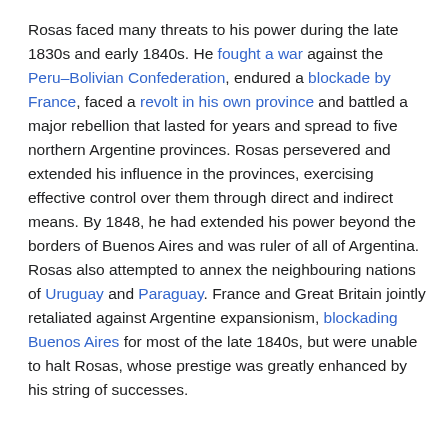Rosas faced many threats to his power during the late 1830s and early 1840s. He fought a war against the Peru–Bolivian Confederation, endured a blockade by France, faced a revolt in his own province and battled a major rebellion that lasted for years and spread to five northern Argentine provinces. Rosas persevered and extended his influence in the provinces, exercising effective control over them through direct and indirect means. By 1848, he had extended his power beyond the borders of Buenos Aires and was ruler of all of Argentina. Rosas also attempted to annex the neighbouring nations of Uruguay and Paraguay. France and Great Britain jointly retaliated against Argentine expansionism, blockading Buenos Aires for most of the late 1840s, but were unable to halt Rosas, whose prestige was greatly enhanced by his string of successes.